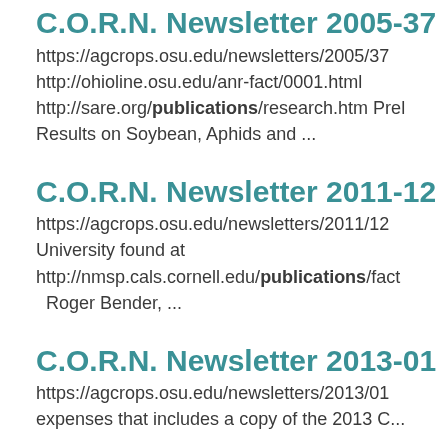C.O.R.N. Newsletter 2005-37
https://agcrops.osu.edu/newsletters/2005/37
http://ohioline.osu.edu/anr-fact/0001.html
http://sare.org/publications/research.htm Prel Results on Soybean, Aphids and ...
C.O.R.N. Newsletter 2011-12
https://agcrops.osu.edu/newsletters/2011/12
University found at
http://nmsp.cals.cornell.edu/publications/fact  Roger Bender, ...
C.O.R.N. Newsletter 2013-01
https://agcrops.osu.edu/newsletters/2013/01
expenses that includes a copy of the 2013 C...